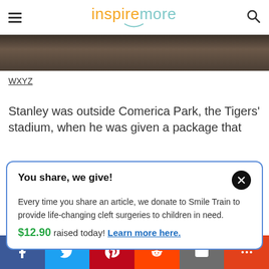inspiremore
[Figure (photo): Partial view of a person wearing a dark jacket, cropped photo strip]
WXYZ
Stanley was outside Comerica Park, the Tigers' stadium, when he was given a package that
You share, we give! Every time you share an article, we donate to Smile Train to provide life-changing cleft surgeries to children in need. $12.90 raised today! Learn more here.